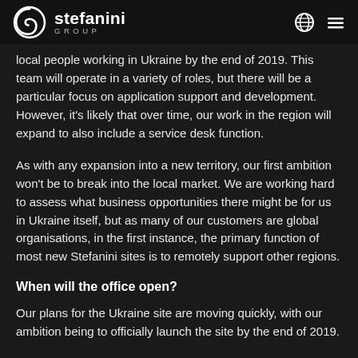Stefanini Group
local people working in Ukraine by the end of 2019. This team will operate in a variety of roles, but there will be a particular focus on application support and development. However, it's likely that over time, our work in the region will expand to also include a service desk function.
As with any expansion into a new territory, our first ambition won't be to break into the local market. We are working hard to assess what business opportunities there might be for us in Ukraine itself, but as many of our customers are global organisations, in the first instance, the primary function of most new Stefanini sites is to remotely support other regions.
When will the office open?
Our plans for the Ukraine site are moving quickly, with our ambition being to officially launch the site by the end of 2019.
That isn't to say that there aren't challenges for us to